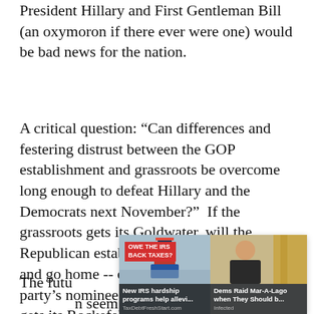President Hillary and First Gentleman Bill (an oxymoron if there ever were one) would be bad news for the nation.
A critical question: “Can differences and festering distrust between the GOP establishment and grassroots be overcome long enough to defeat Hillary and the Democrats next November?”  If the grassroots gets its Goldwater, will the Republican establishment take its marbles and go home -- or worse, fifth-column the party’s nominee?  Or if the establishment gets its Rockefeller, will Hillary’s nomination be sufficient for the grassroots to hold its nose and vote for the establishment’s choice?  Or will the grassroots take a walk?
The futu… can transpire… n seem likely no… nething
[Figure (other): Two ad overlays side by side: left ad shows 'OWE THE IRS BACK TAXES?' with caption 'New IRS hardship programs help allevi...' from TaxDebtFreshStart.com; right ad shows a photo of a person with caption 'Dems Raid Mar-A-Lago when They Should b...' from Infected, with a close (x) button.]